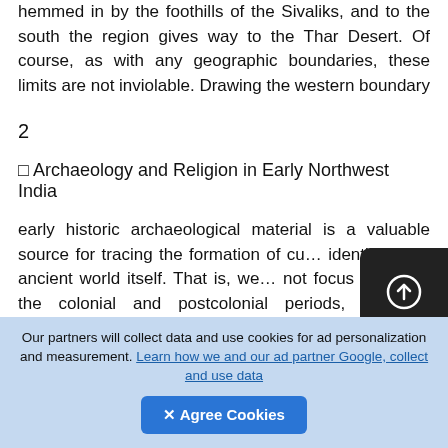hemmed in by the foothills of the Sivaliks, and to the south the region gives way to the Thar Desert. Of course, as with any geographic boundaries, these limits are not inviolable. Drawing the western boundary
2
□ Archaeology and Religion in Early Northwest India
early historic archaeological material is a valuable source for tracing the formation of cu… identities: the ancient world itself. That is, we… not focus solely on the colonial and postcolonial periods, but can productively use the early historic archaeological record to discern the motivations